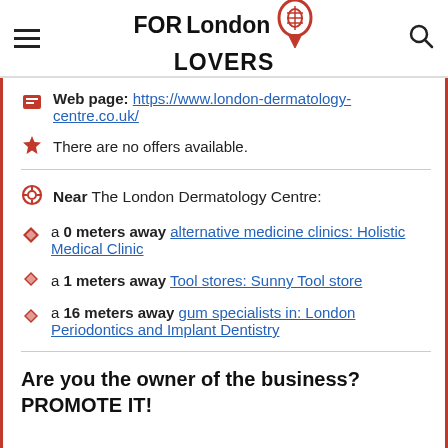FOR London LOVERS
Web page: https://www.london-dermatology-centre.co.uk/
There are no offers available.
Near The London Dermatology Centre:
a 0 meters away alternative medicine clinics: Holistic Medical Clinic
a 1 meters away Tool stores: Sunny Tool store
a 16 meters away gum specialists in: London Periodontics and Implant Dentistry
Are you the owner of the business? PROMOTE IT!